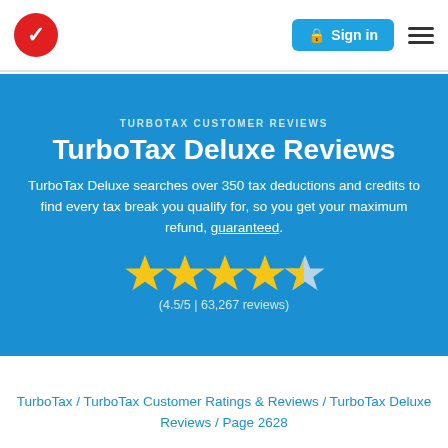TurboTax logo | Sign in | Menu
TURBOTAX CUSTOMER REVIEWS
TurboTax Deluxe Reviews
TurboTax Deluxe searches over 350 tax deductions and credits to find every tax break you qualify for, so you get your maximum refund, guaranteed.
[Figure (other): 4.5 out of 5 stars rating — four full gold stars and one half gold/grey star]
(4.5/5 | 63,267 reviews)
TurboTax / TurboTax Customer Ratings & Reviews / TurboTax Deluxe Reviews / Page 2628